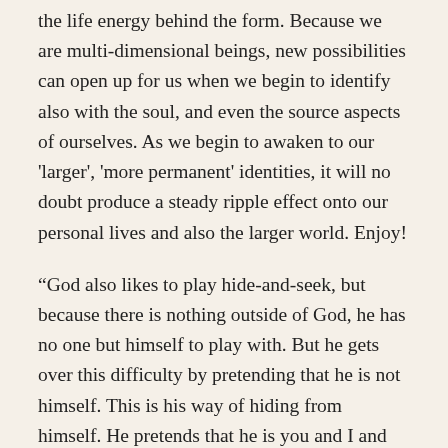the life energy behind the form. Because we are multi-dimensional beings, new possibilities can open up for us when we begin to identify also with the soul, and even the source aspects of ourselves. As we begin to awaken to our 'larger', 'more permanent' identities, it will no doubt produce a steady ripple effect onto our personal lives and also the larger world. Enjoy!
“God also likes to play hide-and-seek, but because there is nothing outside of God, he has no one but himself to play with. But he gets over this difficulty by pretending that he is not himself. This is his way of hiding from himself. He pretends that he is you and I and all the people in the world, all the animals, all the plants, all the rocks, and all the stars. In this way he has strange and wonderful adventures, some of which are terrible and frightening. But these are just